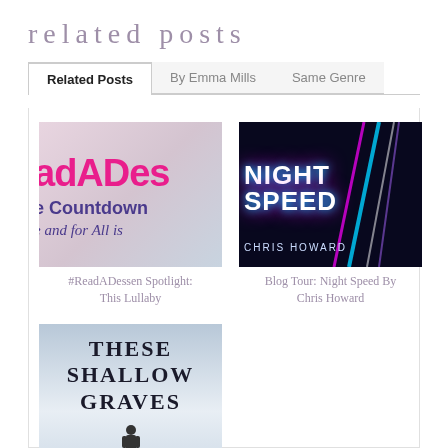related posts
Related Posts
By Emma Mills
Same Genre
[Figure (photo): Book cover for #ReadADessen Spotlight: This Lullaby, showing text 'adADes', 'e Countdown', 'e and for All is' in pink and purple on a blurred background]
#ReadADessen Spotlight: This Lullaby
[Figure (photo): Book cover for Night Speed by Chris Howard, showing neon light streaks in blue and pink on a dark background with the title in large white letters]
Blog Tour: Night Speed By Chris Howard
[Figure (photo): Book cover for These Shallow Graves, showing the title in large bold serif text over a misty blue-grey background with a small figure at the bottom]